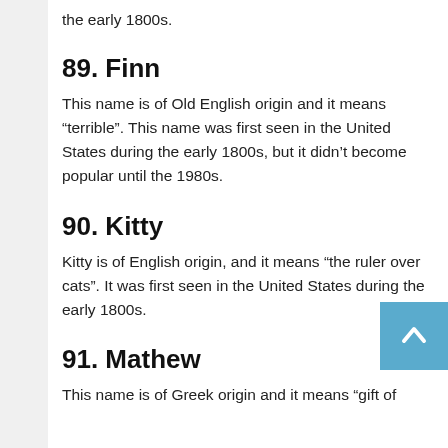the early 1800s.
89. Finn
This name is of Old English origin and it means “terrible”. This name was first seen in the United States during the early 1800s, but it didn’t become popular until the 1980s.
90. Kitty
Kitty is of English origin, and it means “the ruler over cats”. It was first seen in the United States during the early 1800s.
91. Mathew
This name is of Greek origin and it means “gift of